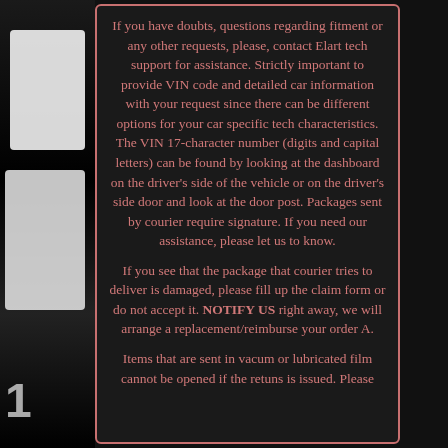If you have doubts, questions regarding fitment or any other requests, please, contact Elart tech support for assistance. Strictly important to provide VIN code and detailed car information with your request since there can be different options for your car specific tech characteristics. The VIN 17-character number (digits and capital letters) can be found by looking at the dashboard on the driver's side of the vehicle or on the driver's side door and look at the door post. Packages sent by courier require signature. If you need our assistance, please let us to know.
If you see that the package that courier tries to deliver is damaged, please fill up the claim form or do not accept it. NOTIFY US right away, we will arrange a replacement/reimburse your order A.
Items that are sent in vacum or lubricated film cannot be opened if the retuns is issued. Please